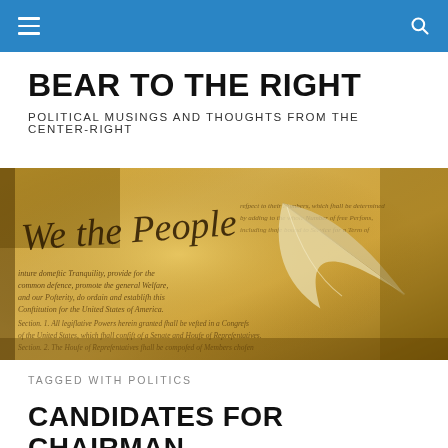☰ [navigation] 🔍 [search]
BEAR TO THE RIGHT
POLITICAL MUSINGS AND THOUGHTS FROM THE CENTER-RIGHT
[Figure (photo): Close-up photograph of the U.S. Constitution showing 'We the People' text with a quill feather pen resting on the parchment]
TAGGED WITH POLITICS
CANDIDATES FOR CHAIRMAN